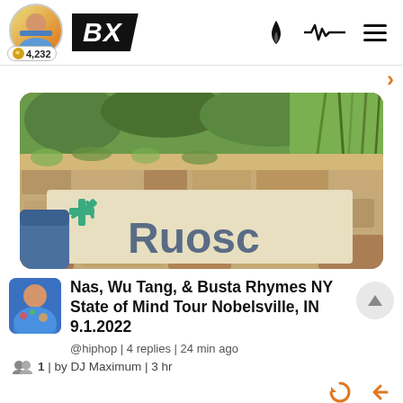BX | 4,232
[Figure (photo): Photo of a stone wall sign reading 'Ruosc' (partially visible) with green plants/grass above, and a teal/green cross-like logo on the sign panel]
Nas, Wu Tang, & Busta Rhymes NY State of Mind Tour Nobelsville, IN 9.1.2022
@hiphop | 4 replies | 24 min ago
1 | by DJ Maximum | 3 hr